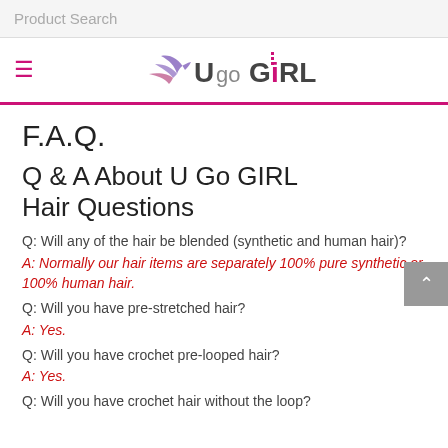Product Search
[Figure (logo): U Go GIRL logo with stylized bird/wing graphic, pink and gray colors]
F.A.Q.
Q & A About U Go GIRL Hair Questions
Q: Will any of the hair be blended (synthetic and human hair)?
A: Normally our hair items are separately 100% pure synthetic or 100% human hair.
Q: Will you have pre-stretched hair?
A: Yes.
Q: Will you have crochet pre-looped hair?
A: Yes.
Q: Will you have crochet hair without the loop?